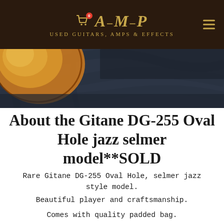AMP Used Guitars, Amps & Effects
[Figure (photo): Close-up photo of a Gitane DG-255 Oval Hole jazz guitar body against a dark fabric background. The guitar shows an amber/sunburst finish on the top.]
About the Gitane DG-255 Oval Hole jazz selmer model**SOLD
Rare Gitane DG-255 Oval Hole, selmer jazz style model.
Beautiful player and craftsmanship.
Comes with quality padded bag.